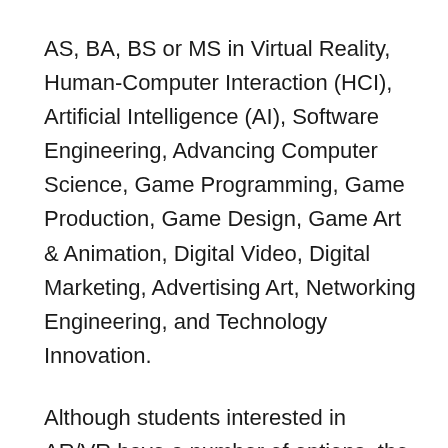AS, BA, BS or MS in Virtual Reality, Human-Computer Interaction (HCI), Artificial Intelligence (AI), Software Engineering, Advancing Computer Science, Game Programming, Game Production, Game Design, Game Art & Animation, Digital Video, Digital Marketing, Advertising Art, Networking Engineering, and Technology Innovation.
Although students interested in AR/VR have a number of options, the BA in Virtual Reality is the most popular. The program “uses game design as a base and applies the design principles of gaming to virtual reality applications such as corporate training, medical and therapeutic, military and education,” says the school. Students in the